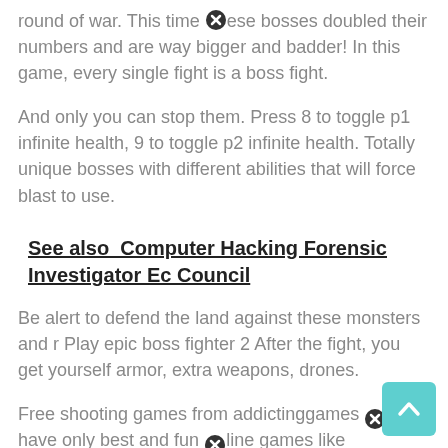round of war. This time [X] ese bosses doubled their numbers and are way bigger and badder! In this game, every single fight is a boss fight.
And only you can stop them. Press 8 to toggle p1 infinite health, 9 to toggle p2 infinite health. Totally unique bosses with different abilities that will force blast to use.
See also  Computer Hacking Forensic Investigator Ec Council
Be alert to defend the land against these monsters and r Play epic boss fighter 2 After the fight, you get yourself armor, extra weapons, drones.
Free shooting games from addictinggames We have only best and fun [X] line games like